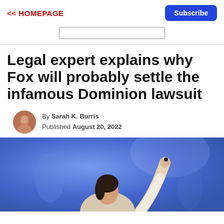<< HOMEPAGE
Subscribe
Legal expert explains why Fox will probably settle the infamous Dominion lawsuit
By Sarah K. Burris
Published August 20, 2022
[Figure (photo): Photo of a woman speaking or gesturing with her arm raised against a blue background, partially cropped at the bottom of the page.]